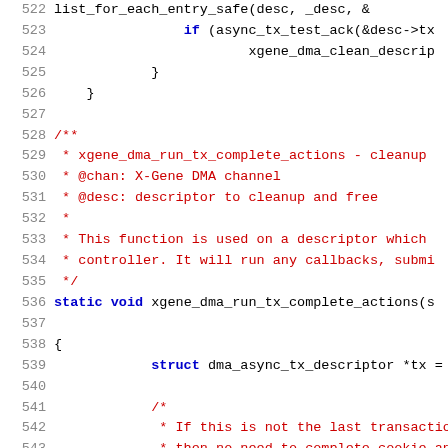Source code listing, lines 522–543, showing C kernel DMA driver code with comments and function definition for xgene_dma_run_tx_complete_actions